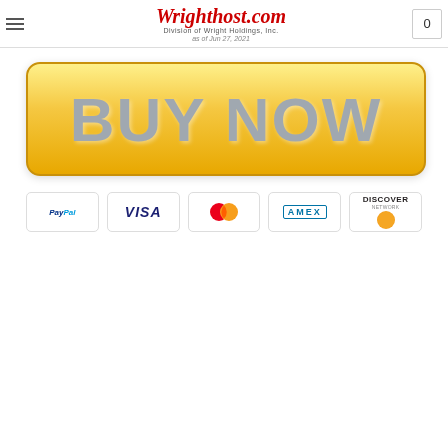Wrighthost.com — Division of Wright Holdings, Inc. — as of Jun 27, 2021
[Figure (illustration): Large golden 'BUY NOW' button with gradient yellow-gold background and rounded corners]
[Figure (illustration): Row of payment method logos: PayPal, Visa, MasterCard, AMEX, Discover Network]